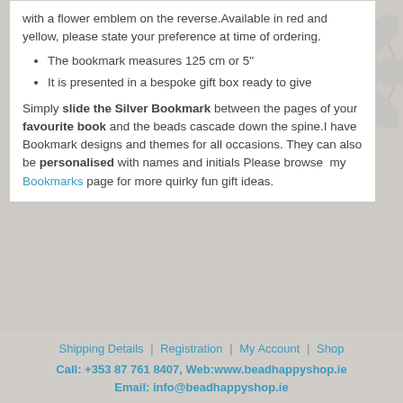with a flower emblem on the reverse. Available in red and yellow, please state your preference at time of ordering.
The bookmark measures 125 cm or 5"
It is presented in a bespoke gift box ready to give
Simply slide the Silver Bookmark between the pages of your favourite book and the beads cascade down the spine. I have Bookmark designs and themes for all occasions. They can also be personalised with names and initials Please browse my Bookmarks page for more quirky fun gift ideas.
Shipping Details | Registration | My Account | Shop
Call: +353 87 761 8407, Web:www.beadhappyshop.ie Email: info@beadhappyshop.ie